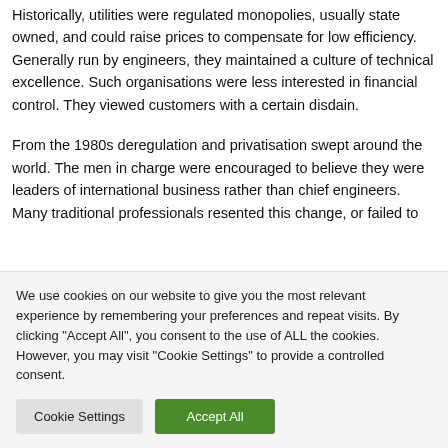Historically, utilities were regulated monopolies, usually state owned, and could raise prices to compensate for low efficiency. Generally run by engineers, they maintained a culture of technical excellence. Such organisations were less interested in financial control. They viewed customers with a certain disdain.
From the 1980s deregulation and privatisation swept around the world. The men in charge were encouraged to believe they were leaders of international business rather than chief engineers. Many traditional professionals resented this change, or failed to
We use cookies on our website to give you the most relevant experience by remembering your preferences and repeat visits. By clicking "Accept All", you consent to the use of ALL the cookies. However, you may visit "Cookie Settings" to provide a controlled consent.